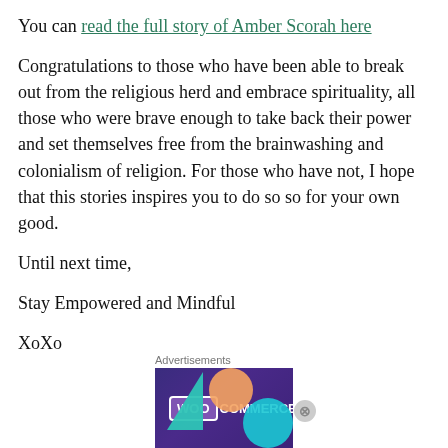You can read the full story of Amber Scorah here
Congratulations to those who have been able to break out from the religious herd and embrace spirituality, all those who were brave enough to take back their power and set themselves free from the brainwashing and colonialism of religion. For those who have not, I hope that this stories inspires you to do so so for your own good.
Until next time,
Stay Empowered and Mindful
XoXo
[Figure (infographic): WooCommerce advertisement banner with dark purple background, teal triangle and orange circle decorative shapes, text reading 'Turn your hobby into a business in 8 steps']